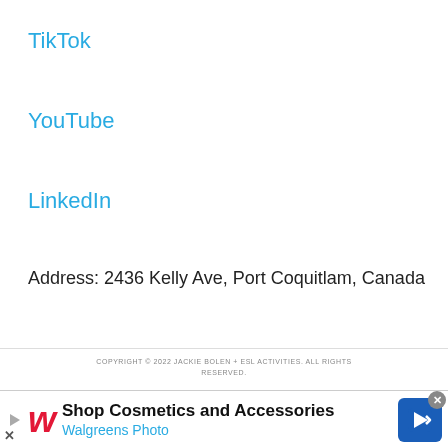TikTok
YouTube
LinkedIn
Address: 2436 Kelly Ave, Port Coquitlam, Canada
COPYRIGHT © 2022 JACKIE BOLEN + ESL ACTIVITIES. ALL RIGHTS RESERVED.
[Figure (other): Advertisement banner for Walgreens Photo: Shop Cosmetics and Accessories]